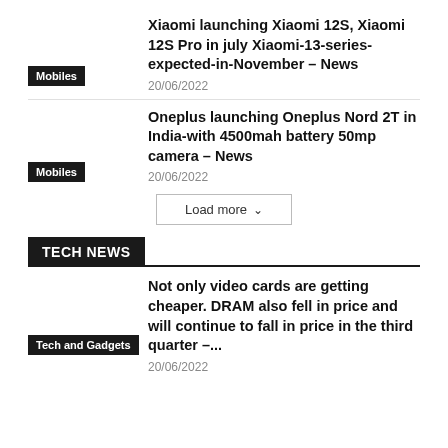Xiaomi launching Xiaomi 12S, Xiaomi 12S Pro in july Xiaomi-13-series-expected-in-November – News
20/06/2022
Mobiles
Oneplus launching Oneplus Nord 2T in India-with 4500mah battery 50mp camera – News
20/06/2022
Mobiles
Load more
TECH NEWS
Not only video cards are getting cheaper. DRAM also fell in price and will continue to fall in price in the third quarter –...
20/06/2022
Tech and Gadgets